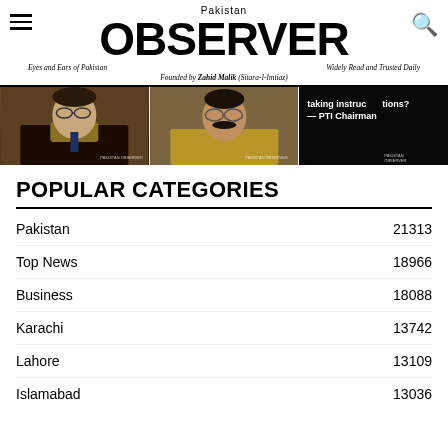Pakistan OBSERVER — Eyes and Ears of Pakistan — Widely Read and Trusted Daily — Founded by Zahid Malik (Sitara-I-Imtiaz)
[Figure (photo): Three news images in a horizontal strip: a man in judicial robes with glasses, a man with a mustache, and a dark background with text overlay reading 'taking instructions? — PTI Chairman']
POPULAR CATEGORIES
Pakistan 21313
Top News 18966
Business 18088
Karachi 13742
Lahore 13109
Islamabad 13036